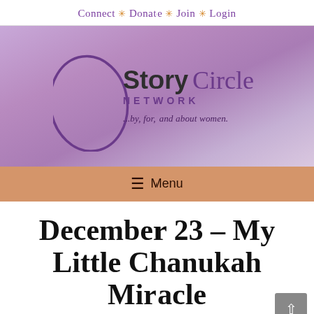Connect ✳ Donate ✳ Join ✳ Login
[Figure (logo): Story Circle Network logo on purple gradient background with circular brush stroke and tagline '...by, for, and about women.']
≡ Menu
December 23 – My Little Chanukah Miracle